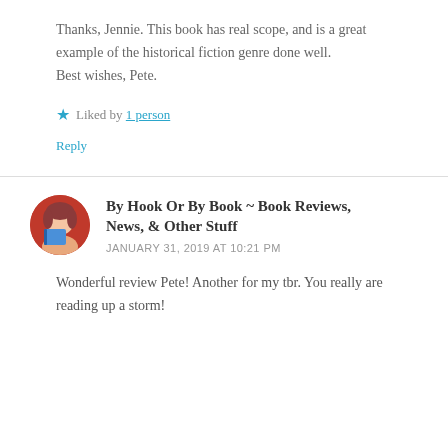Thanks, Jennie. This book has real scope, and is a great example of the historical fiction genre done well.
Best wishes, Pete.
★ Liked by 1 person
Reply
By Hook Or By Book ~ Book Reviews, News, & Other Stuff
JANUARY 31, 2019 AT 10:21 PM
Wonderful review Pete! Another for my tbr. You really are reading up a storm!